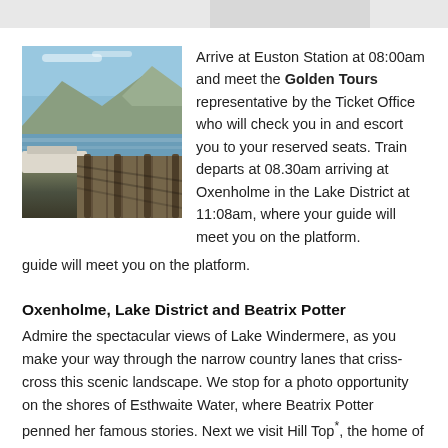[Figure (photo): A wooden dock/pier extending into a lake with mountains in the background under a blue sky. A white boat is visible on the left side.]
Arrive at Euston Station at 08:00am and meet the Golden Tours representative by the Ticket Office who will check you in and escort you to your reserved seats. Train departs at 08.30am arriving at Oxenholme in the Lake District at 11:08am, where your guide will meet you on the platform.
Oxenholme, Lake District and Beatrix Potter
Admire the spectacular views of Lake Windermere, as you make your way through the narrow country lanes that criss-cross this scenic landscape. We stop for a photo opportunity on the shores of Esthwaite Water, where Beatrix Potter penned her famous stories. Next we visit Hill Top*, the home of Beatrix Potter and see the farm and gardens. We continue to the medieval village of Hawkshead with its quaint alleyways. On our way to Coniston